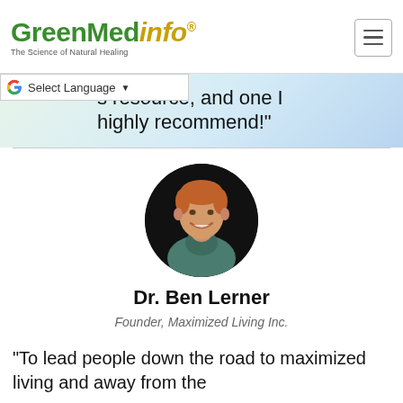GreenMedInfo® — The Science of Natural Healing
s resource, and one I highly recommend!"
[Figure (photo): Circular headshot of Dr. Ben Lerner, a red-haired man smiling, wearing a grey shirt, against a dark background.]
Dr. Ben Lerner
Founder, Maximized Living Inc.
"To lead people down the road to maximized living and away from the